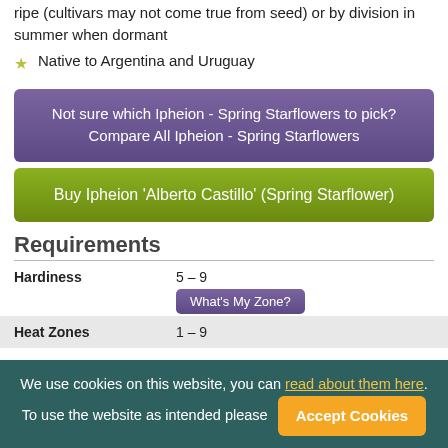ripe (cultivars may not come true from seed) or by division in summer when dormant
Native to Argentina and Uruguay
Not sure which Ipheion - Spring Starflowers to pick? Compare All Ipheion - Spring Starflowers
Buy Ipheion 'Alberto Castillo' (Spring Starflower)
Requirements
|  |  |
| --- | --- |
| Hardiness | 5 – 9 |
|  | What's My Zone? |
| Heat Zones | 1 – 9 |
We use cookies on this website, you can read about them here. To use the website as intended please Accept Cookies